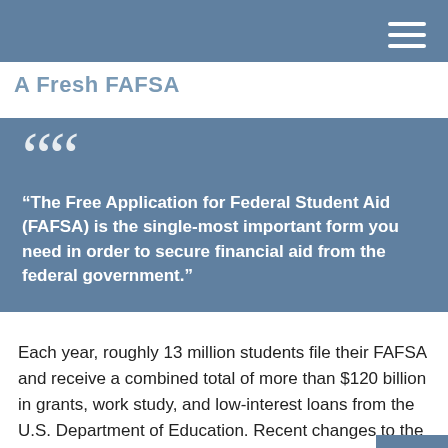A Fresh FAFSA
“The Free Application for Federal Student Aid (FAFSA) is the single-most important form you need in order to secure financial aid from the federal government.”
Each year, roughly 13 million students file their FAFSA and receive a combined total of more than $120 billion in grants, work study, and low-interest loans from the U.S. Department of Education. Recent changes to the FAFSA website have streamlined the application process, but